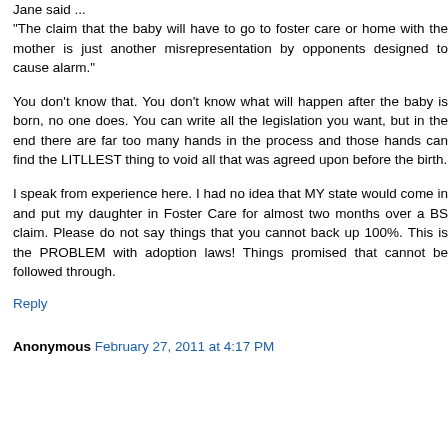Jane said ...
"The claim that the baby will have to go to foster care or home with the mother is just another misrepresentation by opponents designed to cause alarm."
You don't know that. You don't know what will happen after the baby is born, no one does. You can write all the legislation you want, but in the end there are far too many hands in the process and those hands can find the LITLLEST thing to void all that was agreed upon before the birth.
I speak from experience here. I had no idea that MY state would come in and put my daughter in Foster Care for almost two months over a BS claim. Please do not say things that you cannot back up 100%. This is the PROBLEM with adoption laws! Things promised that cannot be followed through.
Reply
Anonymous February 27, 2011 at 4:17 PM